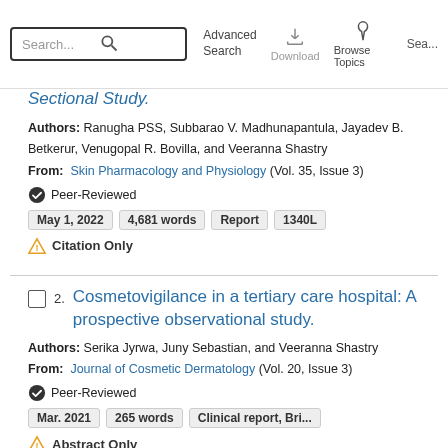Search... [search icon] Advanced Search | Download | Browse Topics | Sea...
Sectional Study.
Authors: Ranugha PSS, Subbarao V. Madhunapantula, Jayadev B. Betkerur, Venugopal R. Bovilla, and Veeranna Shastry
From: Skin Pharmacology and Physiology (Vol. 35, Issue 3)
✔ Peer-Reviewed
May 1, 2022   4,681 words   Report   1340L
⚠ Citation Only
Cosmetovigilance in a tertiary care hospital: A prospective observational study.
Authors: Serika Jyrwa, Juny Sebastian, and Veeranna Shastry
From: Journal of Cosmetic Dermatology (Vol. 20, Issue 3)
✔ Peer-Reviewed
Mar. 2021   265 words   Clinical report, Bri...
⚠ Abstract Only